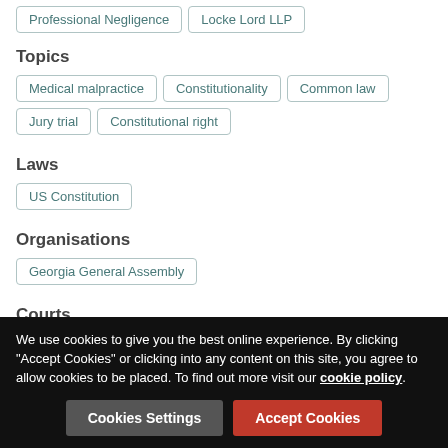Professional Negligence
Locke Lord LLP
Topics
Medical malpractice
Constitutionality
Common law
Jury trial
Constitutional right
Laws
US Constitution
Organisations
Georgia General Assembly
Courts
We use cookies to give you the best online experience. By clicking "Accept Cookies" or clicking into any content on this site, you agree to allow cookies to be placed. To find out more visit our cookie policy.